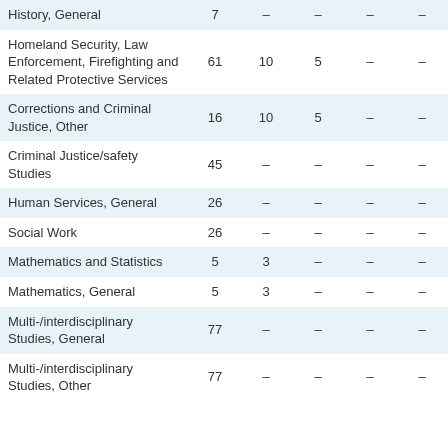|  | Col1 | Col2 | Col3 | Col4 | Col5 |
| --- | --- | --- | --- | --- | --- |
| History, General | 7 | – | – | – | – |
| Homeland Security, Law Enforcement, Firefighting and Related Protective Services | 61 | 10 | 5 | – | – |
| Corrections and Criminal Justice, Other | 16 | 10 | 5 | – | – |
| Criminal Justice/safety Studies | 45 | – | – | – | – |
| Human Services, General | 26 | – | – | – | – |
| Social Work | 26 | – | – | – | – |
| Mathematics and Statistics | 5 | 3 | – | – | – |
| Mathematics, General | 5 | 3 | – | – | – |
| Multi-/interdisciplinary Studies, General | 77 | – | – | – | – |
| Multi-/interdisciplinary Studies, Other | 77 | – | – | – | – |